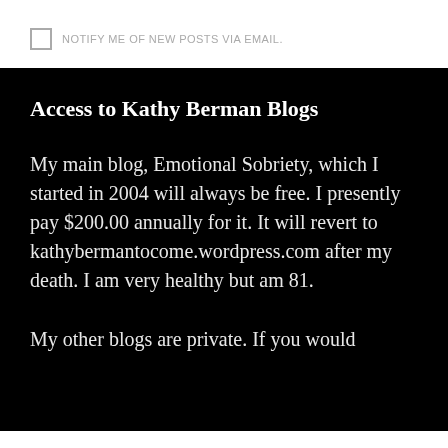NOTIFY ME OF NEW POSTS VIA EMAIL.
Access to Kathy Berman Blogs
My main blog, Emotional Sobriety, which I started in 2004 will always be free. I presently pay $200.00 annually for it. It will revert to kathybermantocome.wordpress.com after my death. I am very healthy but am 81.
My other blogs are private. If you would